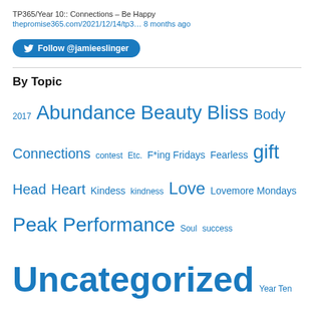TP365/Year 10:: Connections – Be Happy
thepromise365.com/2021/12/14/tp3… 8 months ago
Follow @jamieeslinger
By Topic
2017 Abundance Beauty Bliss Body Connections contest Etc. F*ing Fridays Fearless gift Head Heart Kindess kindness Love Lovemore Mondays Peak Performance Soul success Uncategorized Year Ten Yoga
Oh What A Day!